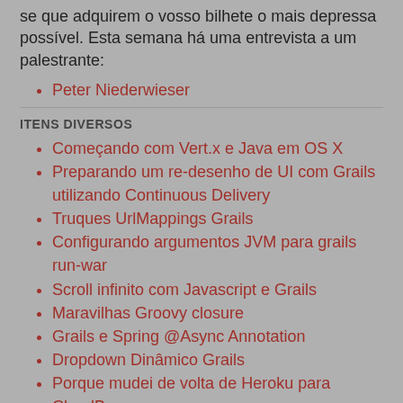se que adquirem o vosso bilhete o mais depressa possível. Esta semana há uma entrevista a um palestrante:
Peter Niederwieser
ITENS DIVERSOS
Começando com Vert.x e Java em OS X
Preparando um re-desenho de UI com Grails utilizando Continuous Delivery
Truques UrlMappings Grails
Configurando argumentos JVM para grails run-war
Scroll infinito com Javascript e Grails
Maravilhas Groovy closure
Grails e Spring @Async Annotation
Dropdown Dinâmico Grails
Porque mudei de volta de Heroku para CloudBees
Semana Spring, 15 Maio 2012